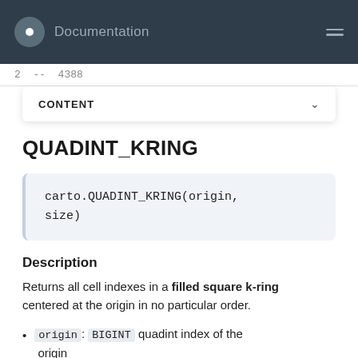Documentation
2  --  4388
CONTENT
QUADINT_KRING
Description
Returns all cell indexes in a filled square k-ring centered at the origin in no particular order.
origin: BIGINT quadint index of the origin